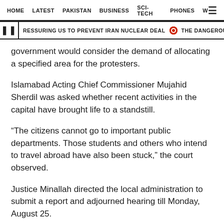HOME   LATEST   PAKISTAN   BUSINESS   SCI-TECH   PHONES   W ≡
❙❙ PRESSURING US TO PREVENT IRAN NUCLEAR DEAL   THE DANGEROUS GAMBLE: ZA
government would consider the demand of allocating a specified area for the protesters.
Islamabad Acting Chief Commissioner Mujahid Sherdil was asked whether recent activities in the capital have brought life to a standstill.
“The citizens cannot go to important public departments. Those students and others who intend to travel abroad have also been stuck,” the court observed.
Justice Minallah directed the local administration to submit a report and adjourned hearing till Monday, August 25.
Published in The Express Tribune, August 20th,2014.